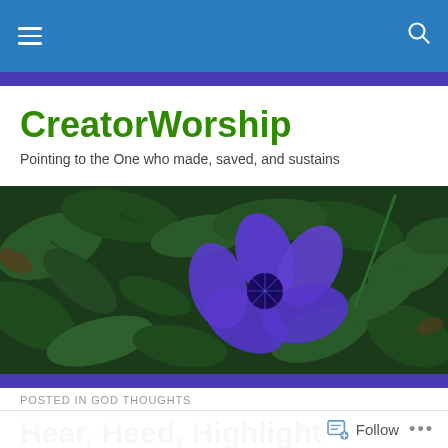CreatorWorship — navigation bar
CreatorWorship
Pointing to the One who made, saved, and sustains
[Figure (photo): Close-up photo of a purple five-petaled flower surrounded by dark green leaves]
POSTED IN GOD THOUGHTS
Hear, Heed, Highlight
Follow